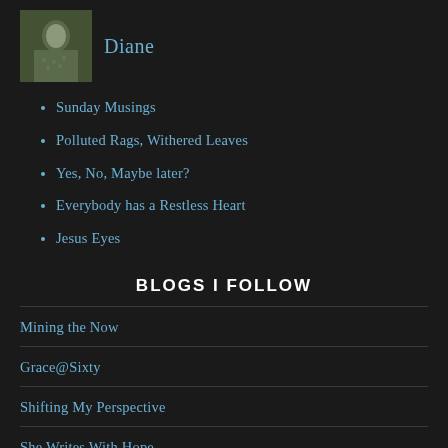[Figure (photo): Small avatar photo of a person named Diane]
Diane
Sunday Musings
Polluted Rags, Withered Leaves
Yes, No, Maybe later?
Everybody has a Restless Heart
Jesus Eyes
BLOGS I FOLLOW
Mining the Now
Grace@Sixty
Shifting My Perspective
She Writes With Hope
mylittlecatholichome.wordpress.com/